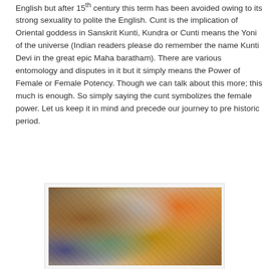English but after 15th century this term has been avoided owing to its strong sexuality to polite the English. Cunt is the implication of Oriental goddess in Sanskrit Kunti, Kundra or Cunti means the Yoni of the universe (Indian readers please do remember the name Kunti Devi in the great epic Maha baratham). There are various entomology and disputes in it but it simply means the Power of Female or Female Potency. Though we can talk about this more; this much is enough. So simply saying the cunt symbolizes the female power. Let us keep it in mind and precede our journey to pre historic period.
[Figure (photo): A photograph showing various carved or molded figurines and artifacts with colorful textures — browns, grays, oranges, and yellows — appearing to be ancient or folk art objects.]